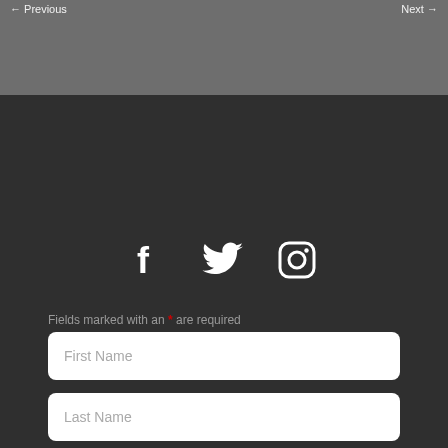← Previous   Next →
[Figure (illustration): Social media icons: Facebook, Twitter, Instagram in white on dark background]
Fields marked with an * are required
First Name
Last Name
Email